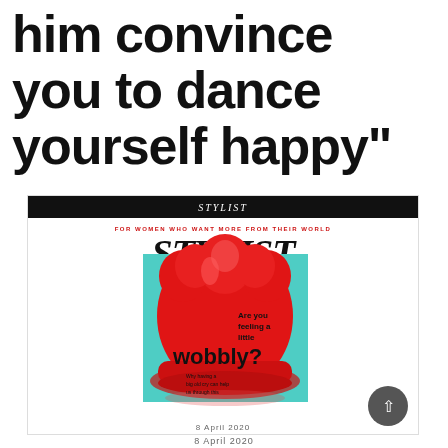him convince you to dance yourself happy"
[Figure (photo): Screenshot of the Stylist magazine cover showing a red jelly mold with text 'Are you feeling a little wobbly?' and subtitle 'Why having a big old cry can help us through this'. Magazine header reads STYLIST with tagline 'FOR WOMEN WHO WANT MORE FROM THEIR WORLD'.]
8 April 2020